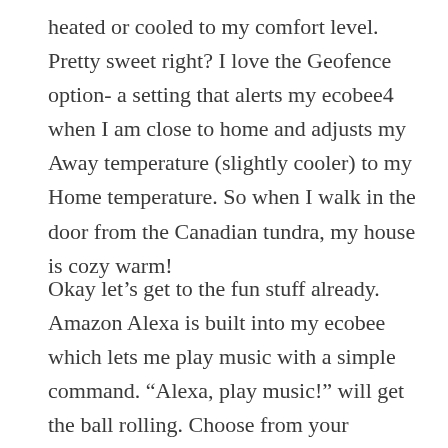heated or cooled to my comfort level. Pretty sweet right? I love the Geofence option- a setting that alerts my ecobee4 when I am close to home and adjusts my Away temperature (slightly cooler) to my Home temperature. So when I walk in the door from the Canadian tundra, my house is cozy warm!
Okay let's get to the fun stuff already. Amazon Alexa is built into my ecobee which lets me play music with a simple command. “Alexa, play music!” will get the ball rolling. Choose from your favorite artists or radio stations and BAM- music to my ears! I can also play trivia games